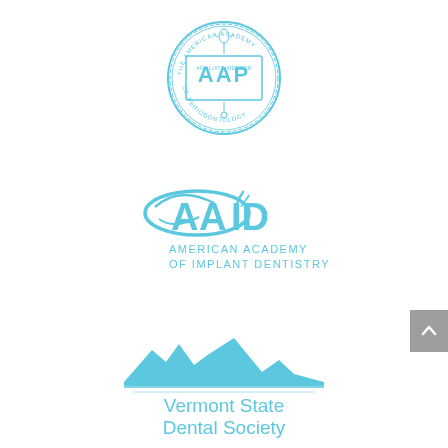[Figure (logo): AAP (American Academy of Periodontology) circular seal logo in light blue]
[Figure (logo): AAID (American Academy of Implant Dentistry) logo in light blue with swoosh graphic and text 'AMERICAN ACADEMY OF IMPLANT DENTISTRY']
[Figure (logo): Vermont State Dental Society logo in light blue with mountain silhouette and text 'Vermont State Dental Society']